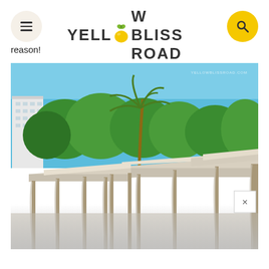YELLOW BLISS ROAD
reason!
[Figure (photo): Outdoor resort cabana area with beige canvas-roofed pergolas/gazebos, hanging curtains, palm trees, green trees, blue sky, and a white hotel building in the background. Watermark reads YELLOWBLISSROAD.COM. Bottom portion fades to grey.]